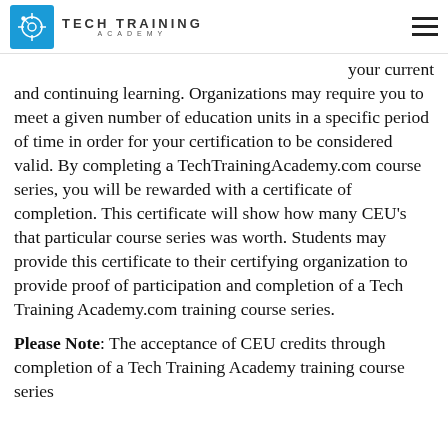Tech Training Academy
your current and continuing learning. Organizations may require you to meet a given number of education units in a specific period of time in order for your certification to be considered valid. By completing a TechTrainingAcademy.com course series, you will be rewarded with a certificate of completion. This certificate will show how many CEU's that particular course series was worth. Students may provide this certificate to their certifying organization to provide proof of participation and completion of a Tech Training Academy.com training course series.
Please Note: The acceptance of CEU credits through completion of a Tech Training Academy training course series